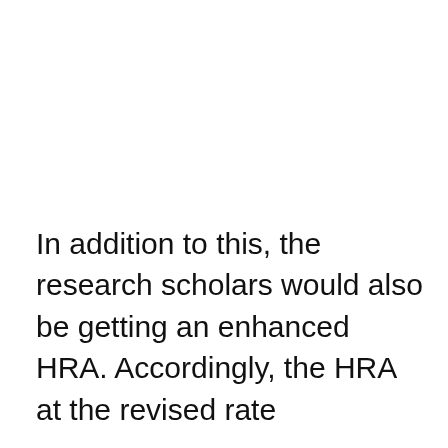In addition to this, the research scholars would also be getting an enhanced HRA. Accordingly, the HRA at the revised rate